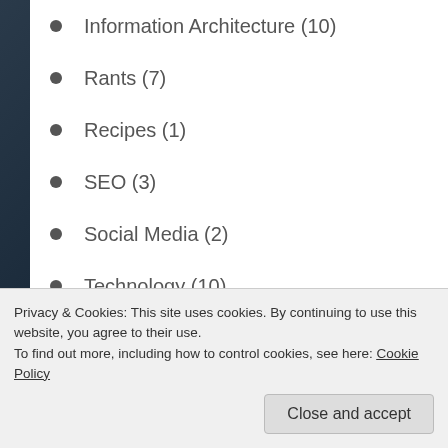Information Architecture (10)
Rants (7)
Recipes (1)
SEO (3)
Social Media (2)
Technology (10)
Uncategorized (27)
Usability & Accessibility (17)
Privacy & Cookies: This site uses cookies. By continuing to use this website, you agree to their use. To find out more, including how to control cookies, see here: Cookie Policy